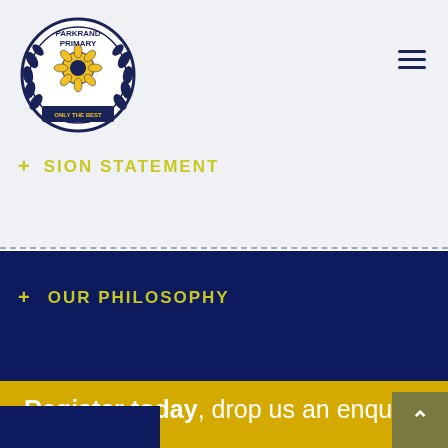[Figure (logo): Parkrand Primary School crest/logo — circular badge with laurel wreath, flower emblem, and banner reading 'Only The Best']
+ MISSION STATEMENT
+ OUR PHILOSOPHY
Register today, drop us an enquiry